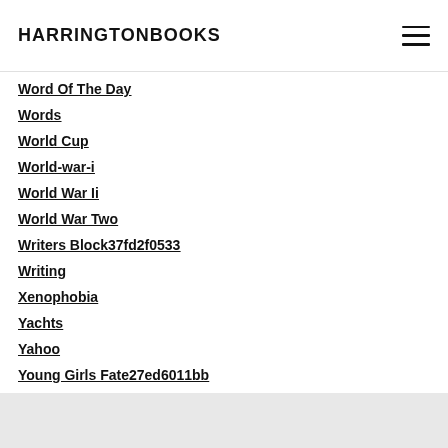HARRINGTONBOOKS
Word Of The Day
Words
World Cup
World-war-i
World War Ii
World War Two
Writers Block37fd2f0533
Writing
Xenophobia
Yachts
Yahoo
Young Girls Fate27ed6011bb
Yugoslavia